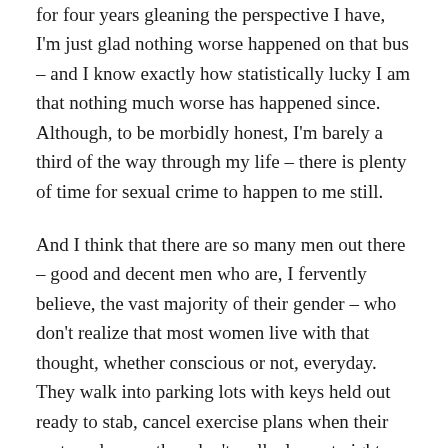for four years gleaning the perspective I have, I'm just glad nothing worse happened on that bus – and I know exactly how statistically lucky I am that nothing much worse has happened since.  Although, to be morbidly honest, I'm barely a third of the way through my life – there is plenty of time for sexual crime to happen to me still.

And I think that there are so many men out there – good and decent men who are, I fervently believe, the vast majority of their gender – who don't realize that most women live with that thought, whether conscious or not, everyday.  They walk into parking lots with keys held out ready to stab, cancel exercise plans when their partner does so they don't walk alone at night, refuse calls to avoid people who intend them fear or hurt.  And